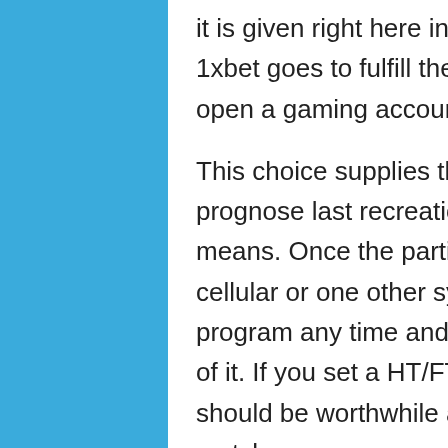it is given right here inside the kind for registration. 1xbet goes to fulfill the Nigerians and allows you to open a gaming account in nairas.
This choice supplies the bettors a chance to prognose last recreation leads to a further exact means. Once the participant downloaded apk on a cellular or one other system, he can refresh the program any time and arrange the latest mannequin of it. If you set a HT/FT guess on, your group merely should be worthwhile at half time after which win the match.
Users might make reside bets on in type sports activities actions identical to soccer, tennis, basketball, ice hockey, golf, and so forth. There are decisions to avoid shedding a great deal of the online...